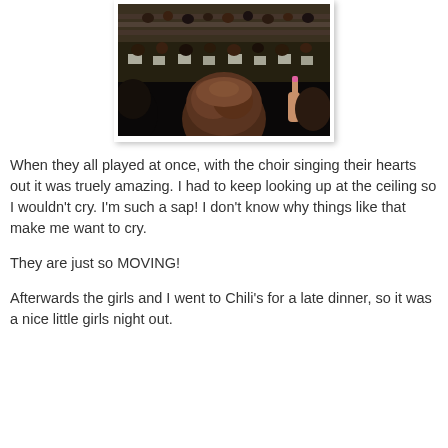[Figure (photo): A crowd scene viewed from behind, showing many people seated in an auditorium or gymnasium setting. In the foreground is a person with brown hair and someone raising a hand with pink nail polish.]
When they all played at once, with the choir singing their hearts out it was truely amazing. I had to keep looking up at the ceiling so I wouldn't cry. I'm such a sap! I don't know why things like that make me want to cry.
They are just so MOVING!
Afterwards the girls and I went to Chili's for a late dinner, so it was a nice little girls night out.